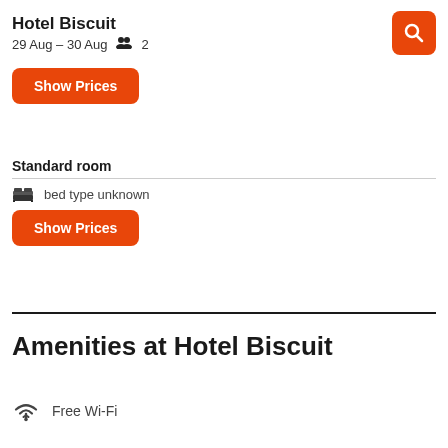Hotel Biscuit
29 Aug – 30 Aug  👥 2
Show Prices
Standard room
bed type unknown
Show Prices
Amenities at Hotel Biscuit
Free Wi-Fi